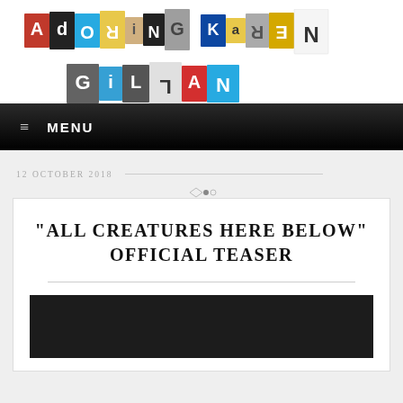[Figure (logo): Adoring Karen Gillan logo made of colorful ransom-note style letter tiles]
≡ MENU
12 OCTOBER 2018
“ALL CREATURES HERE BELOW” OFFICIAL TEASER
[Figure (screenshot): Dark video thumbnail placeholder]